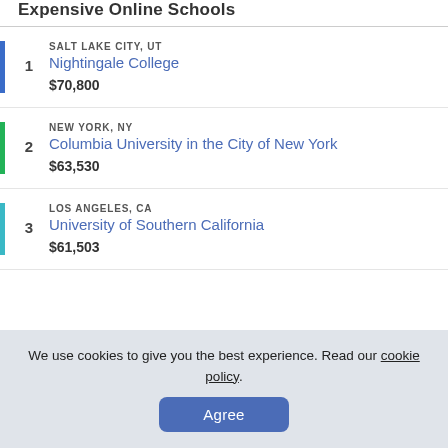Expensive Online Schools
1 SALT LAKE CITY, UT Nightingale College $70,800
2 NEW YORK, NY Columbia University in the City of New York $63,530
3 LOS ANGELES, CA University of Southern California $61,503
We use cookies to give you the best experience. Read our cookie policy. Agree